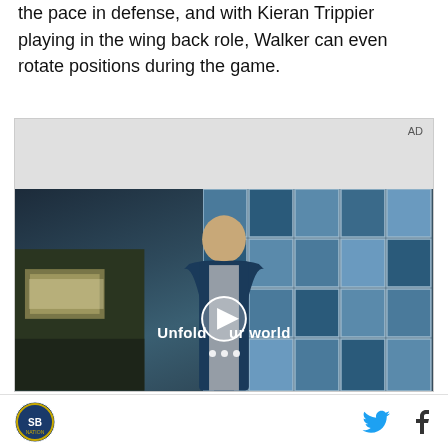the pace in defense, and with Kieran Trippier playing in the wing back role, Walker can even rotate positions during the game.
[Figure (other): Advertisement video player showing a young man standing in a store/diner with a blue tiled wall background. Text overlay reads 'Unfold your world' with a play button in the center.]
SB Nation logo | Twitter icon | Facebook icon